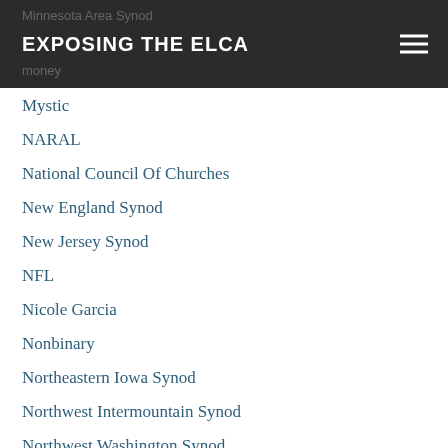EXPOSING THE ELCA
Mystic
NARAL
National Council Of Churches
New England Synod
New Jersey Synod
NFL
Nicole Garcia
Nonbinary
Northeastern Iowa Synod
Northwest Intermountain Synod
Northwest Washington Synod
NT-NL Synod
Oregon Synod
Other Religions
Pacific Lutheran Theological Seminary
Palestinians
Patriarchy